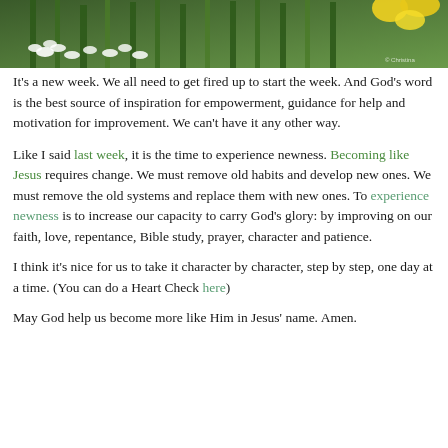[Figure (photo): Close-up photograph of white and green spring flowers and plants with yellow flowers visible in the upper right corner. A watermark reads '© Christina' in the lower right.]
It's a new week. We all need to get fired up to start the week. And God's word is the best source of inspiration for empowerment, guidance for help and motivation for improvement. We can't have it any other way.
Like I said last week, it is the time to experience newness. Becoming like Jesus requires change. We must remove old habits and develop new ones. We must remove the old systems and replace them with new ones. To experience newness is to increase our capacity to carry God's glory: by improving on our faith, love, repentance, Bible study, prayer, character and patience.
I think it's nice for us to take it character by character, step by step, one day at a time. (You can do a Heart Check here)
May God help us become more like Him in Jesus' name. Amen.